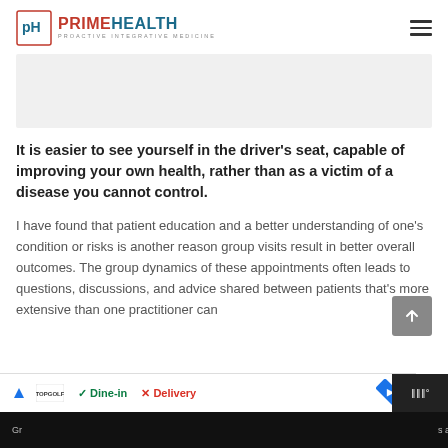PRIME HEALTH — PROACTIVE INTEGRATIVE MEDICINE
[Figure (other): Gray placeholder image box]
It is easier to see yourself in the driver's seat, capable of improving your own health, rather than as a victim of a disease you cannot control.
I have found that patient education and a better understanding of one's condition or risks is another reason group visits result in better overall outcomes. The group dynamics of these appointments often leads to questions, discussions, and advice shared between patients that's more extensive than one practitioner can provide during a private visit.